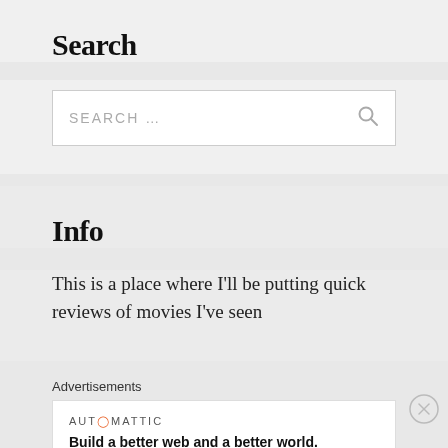Search
[Figure (screenshot): Search input box with placeholder text 'SEARCH ...' and a magnifying glass icon on the right]
Info
This is a place where I'll be putting quick reviews of movies I've seen
Advertisements
[Figure (screenshot): Automattic advertisement banner with text 'Build a better web and a better world.' and a close (X) button]